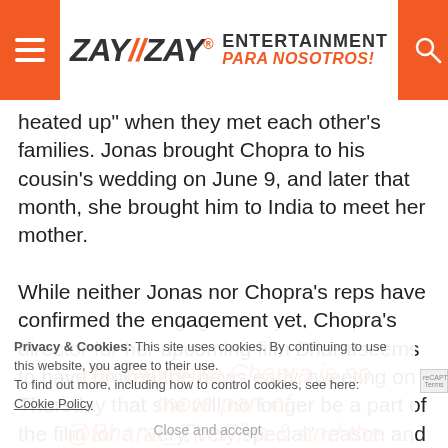ZayZay. ENTERTAINMENT PARA NOSOTROS!
heated up" when they met each other's families. Jonas brought Chopra to his cousin's wedding on June 9, and later that month, she brought him to India to meet her mother.

While neither Jonas nor Chopra's reps have confirmed the engagement yet, Chopra's director for her upcoming film Bharat seems to have broken the news early, tweeting on Thursday that she will no longer be a part of the film for a "very, very special" reason and that she told them "in the Nick of time." (Do you see what he did there?)
Privacy & Cookies: This site uses cookies. By continuing to use this website, you agree to their use.
To find out more, including how to control cookies, see here: Cookie Policy
Close and accept
Yes Priyanka Chopra is no more part of @Bharat_TheFilm & and the